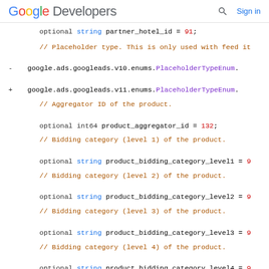Google Developers  Sign in
optional string partner_hotel_id = 91;
// Placeholder type. This is only used with feed it
- google.ads.googleads.v10.enums.PlaceholderTypeEnum.
+ google.ads.googleads.v11.enums.PlaceholderTypeEnum.
// Aggregator ID of the product.
optional int64 product_aggregator_id = 132;
// Bidding category (level 1) of the product.
optional string product_bidding_category_level1 = 9
// Bidding category (level 2) of the product.
optional string product_bidding_category_level2 = 9
// Bidding category (level 3) of the product.
optional string product_bidding_category_level3 = 9
// Bidding category (level 4) of the product.
optional string product_bidding_category_level4 = 9